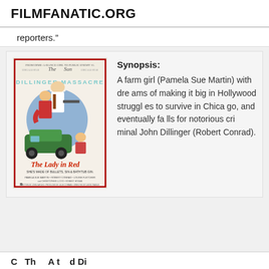FILMFANATIC.ORG
reporters.”
[Figure (photo): Movie poster for 'The Lady in Red' (also titled 'Dillinger Massacre'). Shows a man in gangster attire holding a gun, a woman in red beside him, with a vintage car below. Text reads: 'FROM DIME-A-DANCE GIRL TO PUBLIC ENEMY #1', 'DILLINGER MASSACRE', 'The Lady in Red', 'SHE'S MADE OF BULLETS, SIN & BATHTUB GIN', cast credits, rated R.]
Synopsis: A farm girl (Pamela Sue Martin) with dreams of making it big in Hollywood struggles to survive in Chicago, and eventually falls for notorious criminal John Dillinger (Robert Conrad).